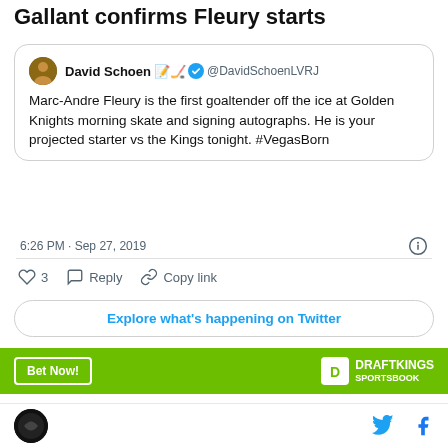Gallant confirms Fleury starts
[Figure (screenshot): Embedded tweet from @DavidSchoenLVRJ: Marc-Andre Fleury is the first goaltender off the ice at Golden Knights morning skate and signing autographs. He is your projected starter vs the Kings tonight. #VegasBorn — 6:26 PM · Sep 27, 2019 — 3 likes, Reply, Copy link, Explore what's happening on Twitter]
[Figure (infographic): DraftKings Sportsbook green banner with Bet Now! button]
Adrian Kempe
Footer with site logo, Twitter icon, Facebook icon